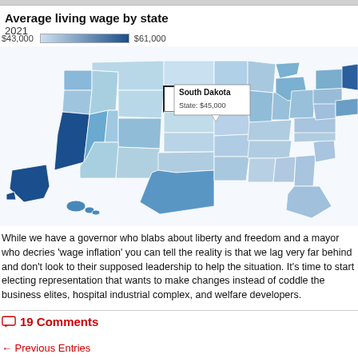Average living wage by state
2021
[Figure (map): Choropleth map of the United States showing average living wage by state in 2021. Color scale from light blue ($43,000) to dark blue ($61,000). South Dakota is highlighted with a tooltip showing State: $45,000. States on the coasts (e.g., California, New England) appear darker blue indicating higher living wages, while central/plains states appear lighter.]
While we have a governor who blabs about liberty and freedom and a mayor who decries 'wage inflation' you can tell the reality is that we lag very far behind and don't look to their supposed leadership to help the situation. It's time to start electing representation that wants to make changes instead of coddle the business elites, hospital industrial complex, and welfare developers.
19 Comments
← Previous Entries